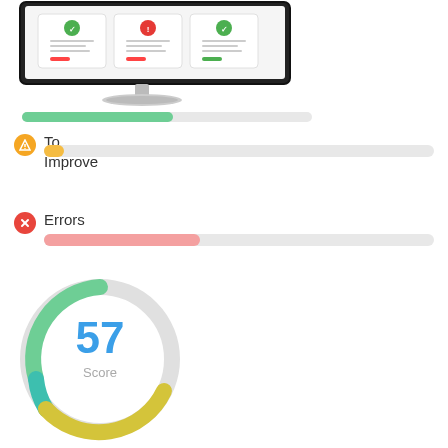[Figure (illustration): Illustration of a desktop computer monitor showing a dashboard interface with colored circular icons and horizontal bars]
[Figure (infographic): Green progress bar (approximately 52% filled) representing a passed/good metric]
[Figure (infographic): Orange circle icon with lightning bolt, label 'To Improve', small orange pill progress bar at ~5%]
[Figure (infographic): Red circle icon with X, label 'Errors', red progress bar at ~40%]
[Figure (donut-chart): Circular gauge/donut chart showing score of 57, with colored arc segments (green, teal, yellow-gold) and gray background arc. Center shows number 57 and label Score.]